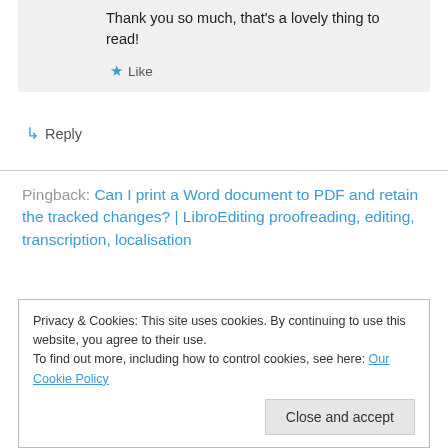Thank you so much, that's a lovely thing to read!
★ Like
↳ Reply
Pingback: Can I print a Word document to PDF and retain the tracked changes? | LibroEditing proofreading, editing, transcription, localisation
Privacy & Cookies: This site uses cookies. By continuing to use this website, you agree to their use.
To find out more, including how to control cookies, see here: Our Cookie Policy
Close and accept